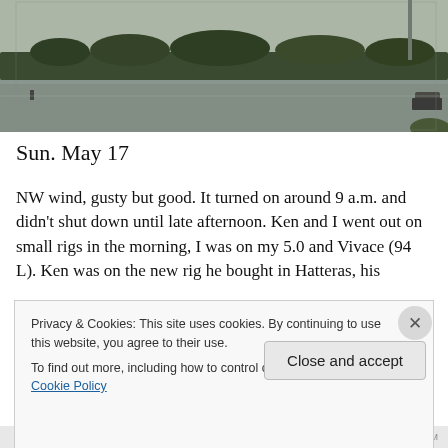[Figure (photo): Outdoor waterway/lake scene with trees on horizon, overcast sky, small figure near water, vehicle on right edge]
Sun. May 17
NW wind, gusty but good. It turned on around 9 a.m. and didn’t shut down until late afternoon. Ken and I went out on small rigs in the morning, I was on my 5.0 and Vivace (94 L). Ken was on the new rig he bought in Hatteras, his
Privacy & Cookies: This site uses cookies. By continuing to use this website, you agree to their use.
To find out more, including how to control cookies, see here: Cookie Policy
Close and accept